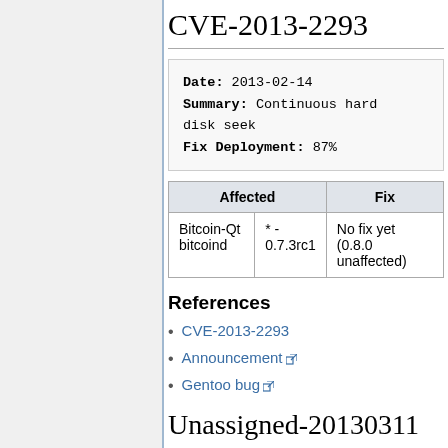CVE-2013-2293
Date: 2013-02-14
Summary: Continuous hard disk seek
Fix Deployment: 87%
| Affected |  | Fix |
| --- | --- | --- |
| Bitcoin-Qt bitcoind | * - 0.7.3rc1 | No fix yet (0.8.0 unaffected) |
References
CVE-2013-2293
Announcement
Gentoo bug
Unassigned-20130311